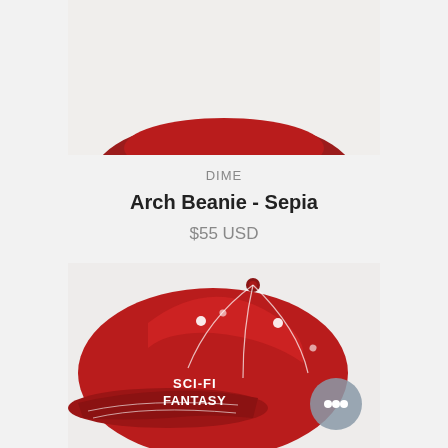[Figure (photo): Top portion of product image - light gray background, partial view of a red baseball cap with white stitching and SCI-FI FANTASY embroidery]
DIME
Arch Beanie - Sepia
$55 USD
[Figure (photo): Red baseball cap with white contrast stitching, embroidered text reading SCI-FI FANTASY on the front panel, shown against a light gray background. A gray chat/messenger bubble icon is visible in the bottom right corner.]